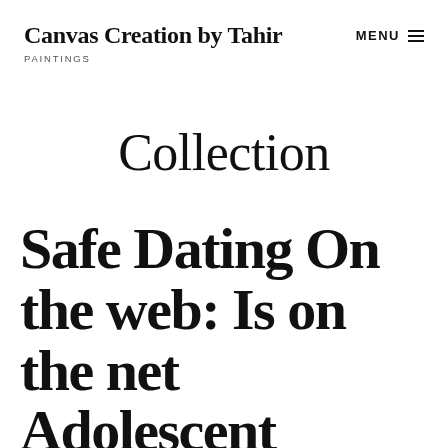Canvas Creation by Tahir
PAINTINGS
Collection
Safe Dating On the web: Is on the net Adolescent Relationships Risky?